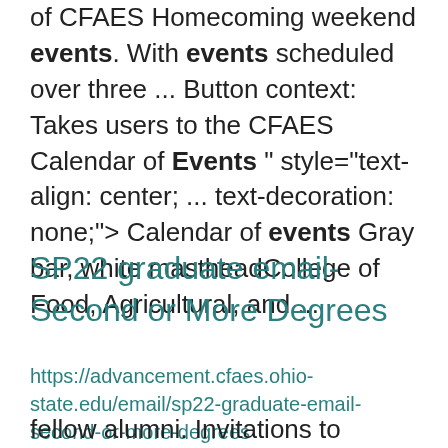of CFAES Homecoming weekend events. With events scheduled over three ... Button context:  Takes users to the CFAES Calendar of Events " style="text-align: center; ... text-decoration: none;"> Calendar of events Gray bar, white mastheadCollege of Food, Agricultural, and ...
SP22 graduate email- Second or More Degrees
https://advancement.cfaes.ohio-state.edu/email/sp22-graduate-email-second-or-more-degrees
fellow alumni. Invitations to events near ...